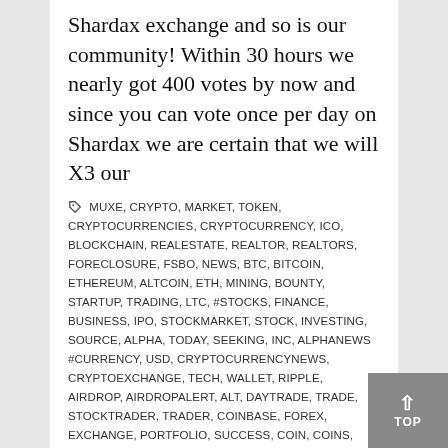Shardax exchange and so is our community! Within 30 hours we nearly got 400 votes by now and since you can vote once per day on Shardax we are certain that we will X3 our
MUXE, CRYPTO, MARKET, TOKEN, CRYPTOCURRENCIES, CRYPTOCURRENCY, ICO, BLOCKCHAIN, REALESTATE, REALTOR, REALTORS, FORECLOSURE, FSBO, NEWS, BTC, BITCOIN, ETHEREUM, ALTCOIN, ETH, MINING, BOUNTY, STARTUP, TRADING, LTC, #STOCKS, FINANCE, BUSINESS, IPO, STOCKMARKET, STOCK, INVESTING, SOURCE, ALPHA, TODAY, SEEKING, INC, ALPHANEWS #CURRENCY, USD, CRYPTOCURRENCYNEWS, CRYPTOEXCHANGE, TECH, WALLET, RIPPLE, AIRDROP, AIRDROPALERT, ALT, DAYTRADE, TRADE, STOCKTRADER, TRADER, COINBASE, FOREX, EXCHANGE, PORTFOLIO, SUCCESS, COIN, COINS, XRP, LITECOIN, HOWTOFINDAREALTOR,